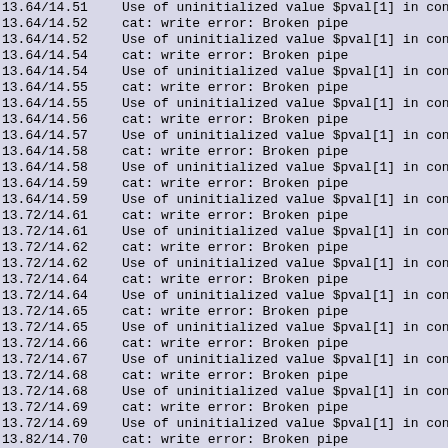13.64/14.51   Use of uninitialized value $pval[1] in concat
13.64/14.52   cat: write error: Broken pipe
13.64/14.52   Use of uninitialized value $pval[1] in concat
13.64/14.54   cat: write error: Broken pipe
13.64/14.54   Use of uninitialized value $pval[1] in concat
13.64/14.55   cat: write error: Broken pipe
13.64/14.55   Use of uninitialized value $pval[1] in concat
13.64/14.56   cat: write error: Broken pipe
13.64/14.57   Use of uninitialized value $pval[1] in concat
13.64/14.58   cat: write error: Broken pipe
13.64/14.58   Use of uninitialized value $pval[1] in concat
13.64/14.59   cat: write error: Broken pipe
13.64/14.59   Use of uninitialized value $pval[1] in concat
13.72/14.61   cat: write error: Broken pipe
13.72/14.61   Use of uninitialized value $pval[1] in concat
13.72/14.62   cat: write error: Broken pipe
13.72/14.62   Use of uninitialized value $pval[1] in concat
13.72/14.64   cat: write error: Broken pipe
13.72/14.64   Use of uninitialized value $pval[1] in concat
13.72/14.65   cat: write error: Broken pipe
13.72/14.65   Use of uninitialized value $pval[1] in concat
13.72/14.66   cat: write error: Broken pipe
13.72/14.67   Use of uninitialized value $pval[1] in concat
13.72/14.68   cat: write error: Broken pipe
13.72/14.68   Use of uninitialized value $pval[1] in concat
13.72/14.69   cat: write error: Broken pipe
13.72/14.69   Use of uninitialized value $pval[1] in concat
13.82/14.70   cat: write error: Broken pipe
13.82/14.71   Use of uninitialized value $pval[1] in concat
13.82/14.72   cat: write error: Broken pipe
13.82/14.72   Use of uninitialized value $pval[1] in concat
13.82/14.73   cat: write error: Broken pipe